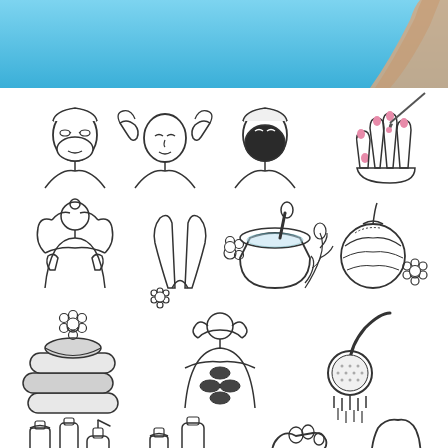[Figure (illustration): Top banner with blue background showing a partial view of a person raising their arm against a sky-blue background]
[Figure (illustration): Grid of spa and beauty line-art icons including: woman with facial mask and headband, woman receiving head massage, woman with black facial mask, hand with painted nails being painted, woman's back with hands on shoulders, raised arms with flower, mortar and pestle with herbs, herbal compress ball with flower, stacked towels with flower, woman's back with hot stones, shower head, cosmetic bottles and tubes, foot massage, leg waxing/shaving icon]